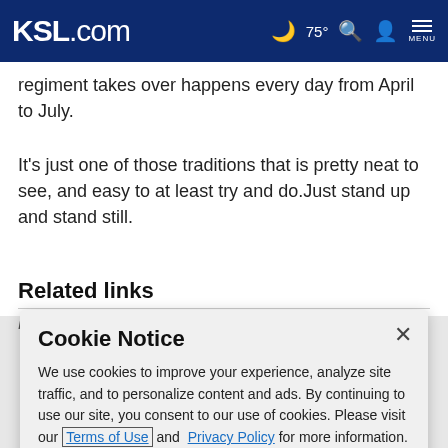KSL.com | 75° | Search | Account | Menu
regiment takes over happens every day from April to July.
It's just one of those traditions that is pretty neat to see, and easy to at least try and do.Just stand up and stand still.
Related links
NBC Changi...
Cookie Notice
We use cookies to improve your experience, analyze site traffic, and to personalize content and ads. By continuing to use our site, you consent to our use of cookies. Please visit our Terms of Use and  Privacy Policy for more information.
Continue